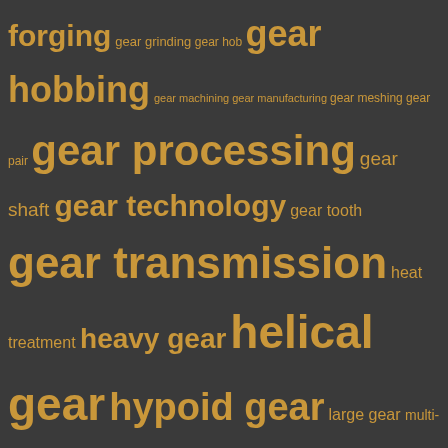[Figure (infographic): Tag cloud of gear-related terms in various font sizes on a dark gray background, all in gold/amber color. Terms include: forging, gear grinding, gear hob, gear hobbing, gear machining, gear manufacturing, gear meshing, gear pair, gear processing, gear shaft, gear technology, gear tooth, gear transmission, heat treatment, heavy gear, helical gear, hypoid gear, large gear, multi-stage gear, noncircular gear, planetary gear, rack and pinion, reverse engineering, shaft gear, spiral bevel gear, spur bevel gear, spur gear, steel gear, straight bevel gear, tractor gear, truck gear, worm gear]
Advertising Slogan
Credibility, Good Quality, Competitive Price —— Leading technology & Strong scientific working group.
Order & Packing